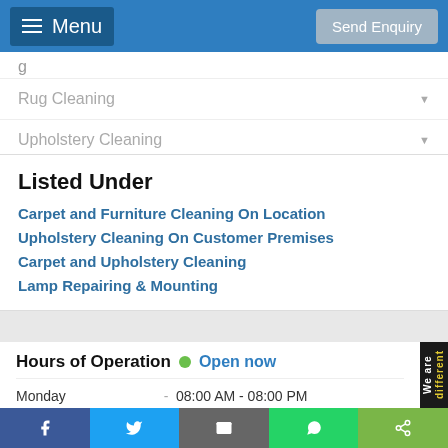Menu | Send Enquiry
Rug Cleaning
Upholstery Cleaning
Listed Under
Carpet and Furniture Cleaning On Location
Upholstery Cleaning On Customer Premises
Carpet and Upholstery Cleaning
Lamp Repairing & Mounting
Hours of Operation  Open now
Monday - 08:00 AM - 08:00 PM
Tuesday - 08:00 AM - 08:00 PM
Wednesday - 08:00 AM - 08:00 PM
Thursday - 08:00 AM - 08:00 PM